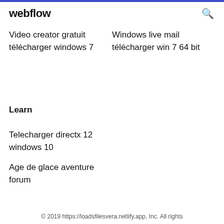webflow
Video creator gratuit télécharger windows 7
Windows live mail télécharger win 7 64 bit
Learn
Telecharger directx 12 windows 10
Age de glace aventure forum
© 2019 https://loadsfilesvera.netlify.app, Inc. All rights